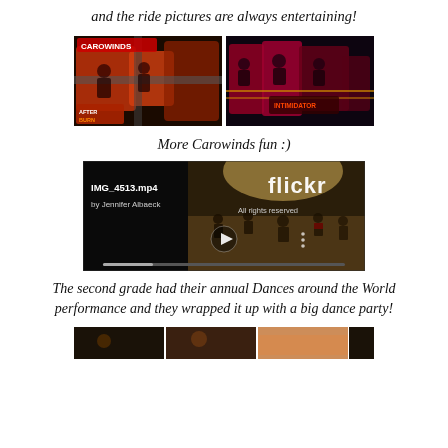and the ride pictures are always entertaining!
[Figure (photo): Two side-by-side ride photos from Carowinds amusement park — left shows Afterburner ride car seats, right shows another ride with people aboard]
More Carowinds fun :)
[Figure (screenshot): Flickr video screenshot: IMG_4513.mp4 by Jennifer Albaeck, All rights reserved. Shows people dancing in a gym/auditorium. Play button visible in center. Flickr branding top right.]
The second grade had their annual Dances around the World performance and they wrapped it up with a big dance party!
[Figure (photo): Partial bottom strip showing thumbnail images cut off at page bottom]